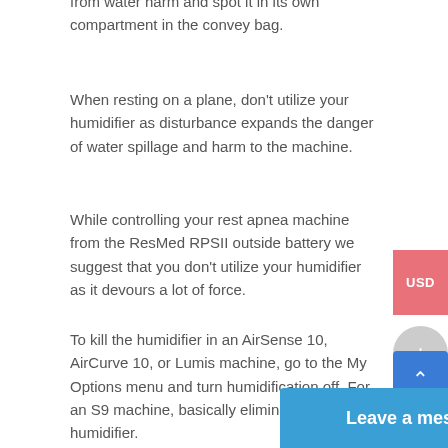from water harm and spot it in its own compartment in the convey bag.
When resting on a plane, don't utilize your humidifier as disturbance expands the danger of water spillage and harm to the machine.
While controlling your rest apnea machine from the ResMed RPSII outside battery we suggest that you don't utilize your humidifier as it devours a lot of force.
To kill the humidifier in an AirSense 10, AirCurve 10, or Lumis machine, go to the My Options menu and turn humidification off. For an S9 machine, basically eliminate the humidifier.
In case you're utilizing a rest apnea machine with worked in remote connectivity on a plane consistently empower Airplane Mode. See you